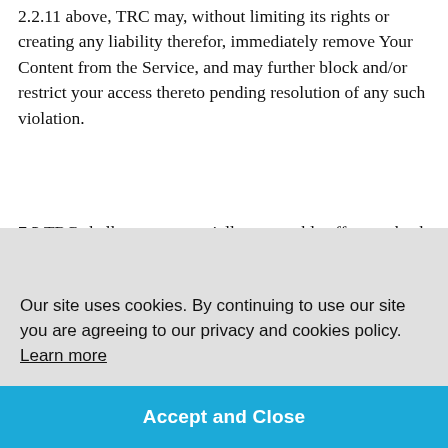2.2.11 above, TRC may, without limiting its rights or creating any liability therefor, immediately remove Your Content from the Service, and may further block and/or restrict your access thereto pending resolution of any such violation.
7.3 TRC shall use commercially reasonable efforts to back up Your Content as part of its standard processes and procedures with respect to the backing up of the Service and/or the Content generally. However, as between the parties, you [partially obscured: ...es and ...e ...tion to ...akes Your ...or]
Our site uses cookies. By continuing to use our site you are agreeing to our privacy and cookies policy. Learn more
Accept and Close